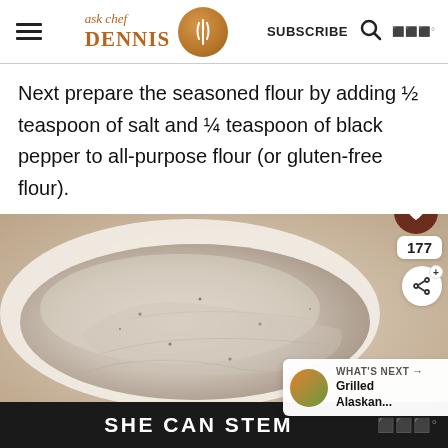ask chef DENNIS [logo] SUBSCRIBE [search icon]
Next prepare the seasoned flour by adding ½ teaspoon of salt and ¼ teaspoon of black pepper to all-purpose flour (or gluten-free flour).
[Figure (photo): A flour-dusted fish fillet laid flat on a white surface or cutting board, coated in seasoned flour mixture with visible pepper specks.]
SHE CAN STEM